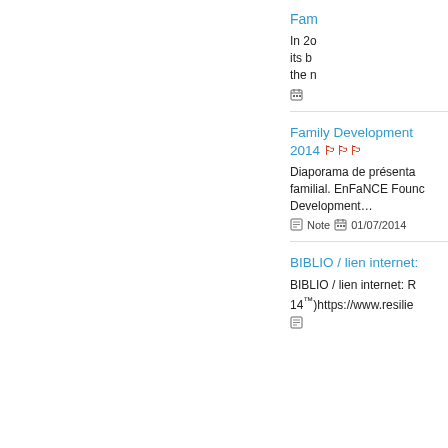Fam…
In 20… its b… the n…
Family Development … 2014
Diaporama de présenta… familial. EnFaNCE Founc… Development…
Note   01/07/2014
BIBLIO / lien internet:…
BIBLIO / lien internet: R… 14™)https://www.resilie…